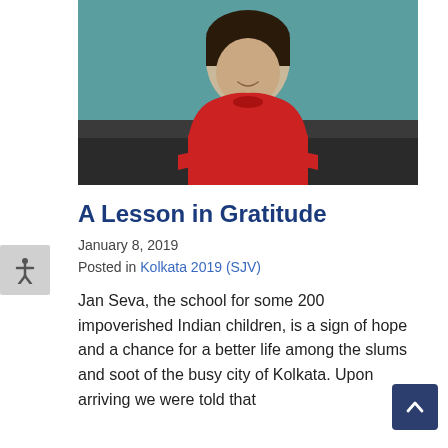[Figure (photo): Woman in red top smiling, seated at a desk, photographed indoors with teal background.]
A Lesson in Gratitude
January 8, 2019
Posted in Kolkata 2019 (SJV)
Jan Seva, the school for some 200 impoverished Indian children, is a sign of hope and a chance for a better life among the slums and soot of the busy city of Kolkata. Upon arriving we were told that